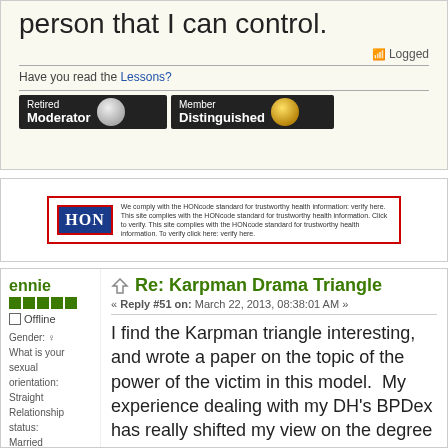person that I can control.
Logged
Have you read the Lessons?
[Figure (other): Retired Moderator badge and Member Distinguished badge]
[Figure (other): HON (Health on the Net) certification banner]
ennie
Offline
Gender: ♀ What is your sexual orientation: Straight Relationship status: Married (together 6 years) Posts: 851
Re: Karpman Drama Triangle
« Reply #51 on: March 22, 2013, 08:38:01 AM »
I find the Karpman triangle interesting, and wrote a paper on the topic of the power of the victim in this model.  My experience dealing with my DH's BPDex has really shifted my view on the degree of power the victim